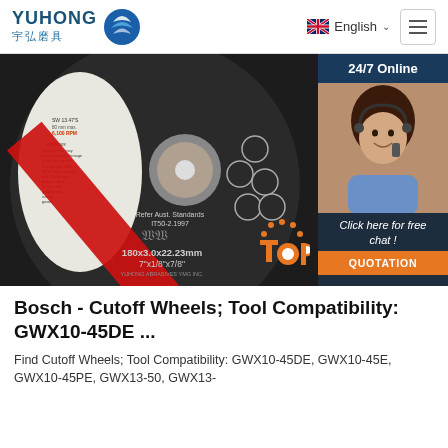[Figure (logo): YUHONG brand logo with Chinese characters 宇弘磨具 and blue wave/globe icon]
[Figure (photo): Close-up photo of an abrasive cutoff wheel (black disc with red stripe) showing label: 180x3.0x22.23mm, 7"x1/8"x7/8", Refer Aust. Standards IT50-2.1997]
[Figure (photo): Sidebar: 24/7 Online chat support with photo of smiling woman with headset]
Bosch - Cutoff Wheels; Tool Compatibility: GWX10-45DE ...
Find Cutoff Wheels; Tool Compatibility: GWX10-45DE, GWX10-45E, GWX10-45PE, GWX13-50, GWX13-